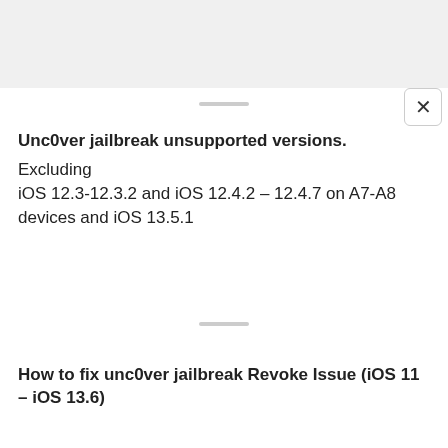Unc0ver jailbreak unsupported versions.
Excluding
iOS 12.3-12.3.2 and iOS 12.4.2 – 12.4.7 on A7-A8 devices and iOS 13.5.1
How to fix unc0ver jailbreak Revoke Issue (iOS 11 – iOS 13.6)